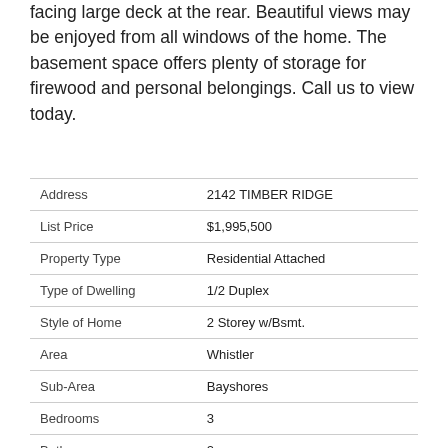facing large deck at the rear. Beautiful views may be enjoyed from all windows of the home. The basement space offers plenty of storage for firewood and personal belongings. Call us to view today.
| Field | Value |
| --- | --- |
| Address | 2142 TIMBER RIDGE |
| List Price | $1,995,500 |
| Property Type | Residential Attached |
| Type of Dwelling | 1/2 Duplex |
| Style of Home | 2 Storey w/Bsmt. |
| Area | Whistler |
| Sub-Area | Bayshores |
| Bedrooms | 3 |
| Bathrooms | 2 |